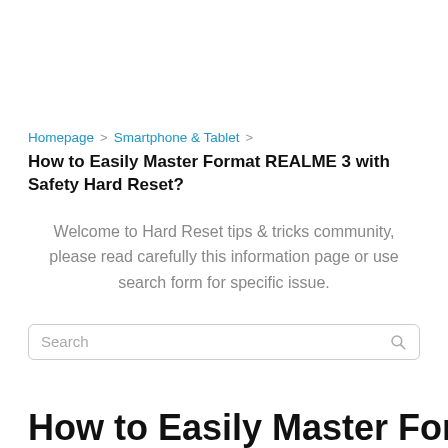Homepage > Smartphone & Tablet >
How to Easily Master Format REALME 3 with Safety Hard Reset?
Welcome to Hard Reset tips & tricks community, please read carefully this information page or use search form for specific issue.
How to Easily Master Format